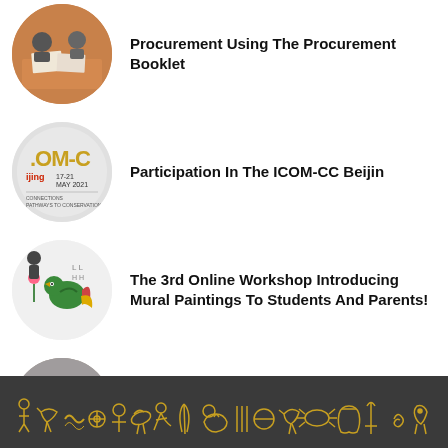Procurement Using The Procurement Booklet
Participation In The ICOM-CC Beijin
The 3rd Online Workshop Introducing Mural Paintings To Students And Parents!
Field Trip To The Museum Of Civilization
[Egyptian hieroglyph decorative border]